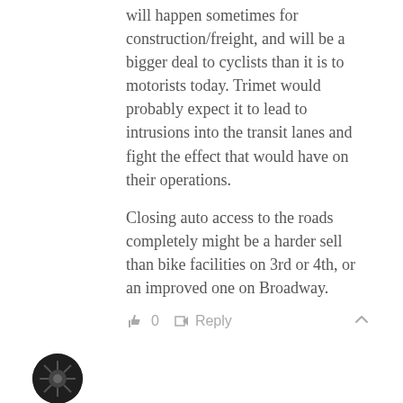will happen sometimes for construction/freight, and will be a bigger deal to cyclists than it is to motorists today. Trimet would probably expect it to lead to intrusions into the transit lanes and fight the effect that would have on their operations.
Closing auto access to the roads completely might be a harder sell than bike facilities on 3rd or 4th, or an improved one on Broadway.
0  Reply
[Figure (other): User avatar for maccoinnich - dark circular profile image with spider/insect icon]
maccoinnich  6 years ago
Reply to lop
I don't think 5th & 6th Ave are the best option for a N-S bike route through downtown, but the Courthouse isn't a